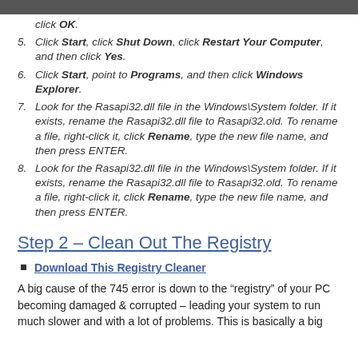click OK.
Click Start, click Shut Down, click Restart Your Computer, and then click Yes.
Click Start, point to Programs, and then click Windows Explorer.
Look for the Rasapi32.dll file in the Windows\System folder. If it exists, rename the Rasapi32.dll file to Rasapi32.old. To rename a file, right-click it, click Rename, type the new file name, and then press ENTER.
Look for the Rasapi32.dll file in the Windows\System folder. If it exists, rename the Rasapi32.dll file to Rasapi32.old. To rename a file, right-click it, click Rename, type the new file name, and then press ENTER.
Step 2 – Clean Out The Registry
Download This Registry Cleaner
A big cause of the 745 error is down to the "registry" of your PC becoming damaged & corrupted – leading your system to run much slower and with a lot of problems. This is basically a big